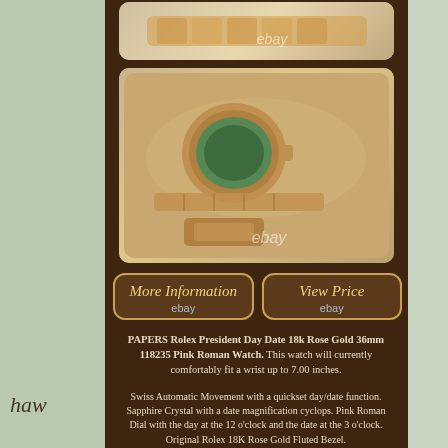[Figure (photo): Top partial view of Rolex President watch on gold bracelet with eBay watermark]
[Figure (photo): Back view of Rolex President Day Date 18k Rose Gold watch showing caseback and bracelet with eBay watermark]
[Figure (other): More Information button with eBay link]
[Figure (other): View Price button with eBay link]
PAPERS Rolex President Day Date 18k Rose Gold 36mm 118235 Pink Roman Watch. This watch will currently comfortably fit a wrist up to 7.00 inches.
Swiss Automatic Movement with a quickset day/date function. Sapphire Crystal with a date magnification cyclops. Pink Roman Dial with the day at the 12 o'clock and the date at the 3 o'clock. Original Rolex 18K Rose Gold Fluted Bezel.
18K Rose Gold President Bracelet with the heavy band Folding Crownclasp. Watch case and outer box.
Certificate of appraisal and authenticity. Please review the images...